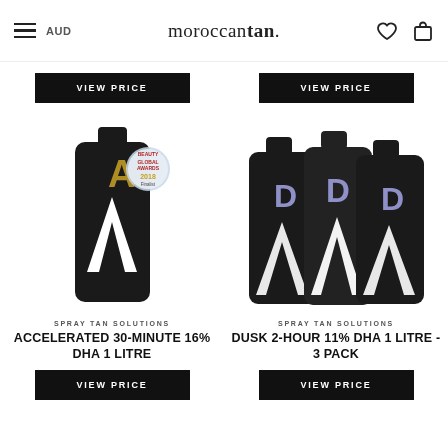≡  AUD    moroccantan.    ♡  🛍
VIEW PRICE
VIEW PRICE
[Figure (photo): A single dark/black bottle of Moroccan Tan Accelerated 30-Minute 16% DHA 1 Litre spray tan solution with a white lightning-bolt 'M' logo and gold 'A' letter, along with a Beauty Global Awards 2018 Finalist badge.]
[Figure (photo): Three dark/black bottles of Moroccan Tan Dusk 2-Hour 11% DHA 1 Litre spray tan solution arranged side by side, each with a white lightning-bolt logo and purple 'D' letters.]
SPRAY TAN SOLUTIONS
ACCELERATED 30-MINUTE 16% DHA 1 LITRE
SPRAY TAN SOLUTIONS
DUSK 2-HOUR 11% DHA 1 LITRE - 3 PACK
VIEW PRICE
VIEW PRICE